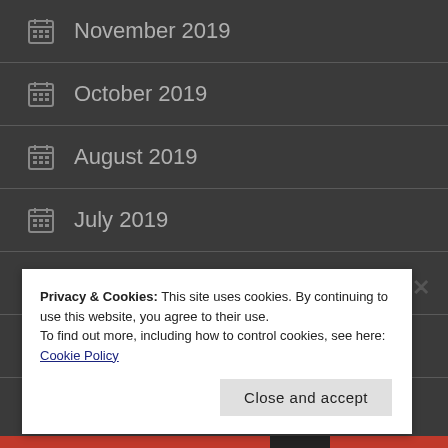November 2019
October 2019
August 2019
July 2019
April 2019
January 2019
Privacy & Cookies: This site uses cookies. By continuing to use this website, you agree to their use. To find out more, including how to control cookies, see here: Cookie Policy